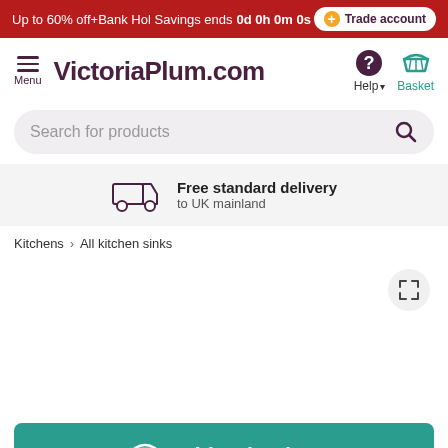Up to 60% off+Bank Hol Savings ends 0d 0h 0m 0s | Trade account
[Figure (screenshot): VictoriaPlum.com website navigation bar with hamburger menu, logo, Help and Basket icons]
Search for products
Free standard delivery to UK mainland
Kitchens > All kitchen sinks
[Figure (photo): Product image area with expand/fullscreen button]
Add to basket